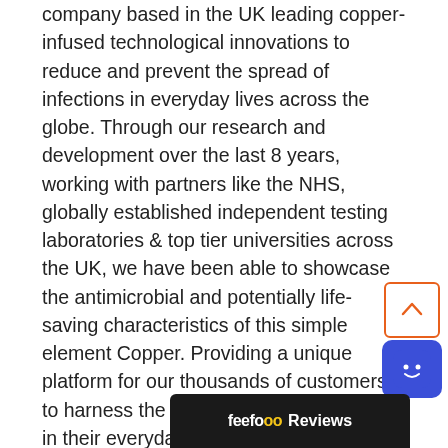company based in the UK leading copper-infused technological innovations to reduce and prevent the spread of infections in everyday lives across the globe. Through our research and development over the last 8 years, working with partners like the NHS, globally established independent testing laboratories & top tier universities across the UK, we have been able to showcase the antimicrobial and potentially life-saving characteristics of this simple element Copper. Providing a unique platform for our thousands of customers to harness the #powerofcopper and use in their everyday lives as the first layer of defence to protect their family the start of